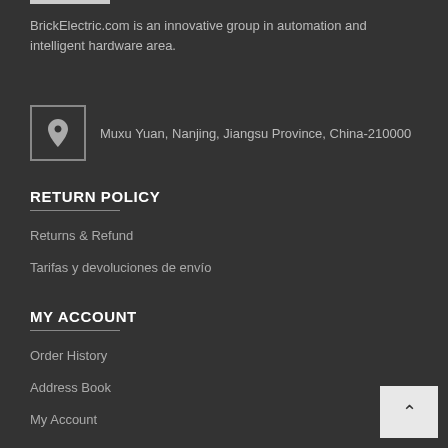BrickElectric.com is an innovative group in automation and intelligent hardware area.
Muxu Yuan, Nanjing, Jiangsu Province, China-210000
RETURN POLICY
Returns & Refund
Tarifas y devoluciones de envío
MY ACCOUNT
Order History
Address Book
My Account